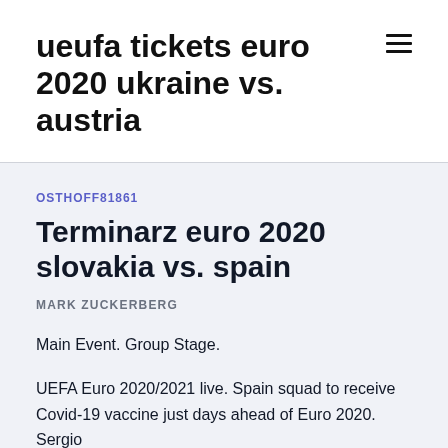ueufa tickets euro 2020 ukraine vs. austria
OSTHOFF81861
Terminarz euro 2020 slovakia vs. spain
MARK ZUCKERBERG
Main Event. Group Stage.
UEFA Euro 2020/2021 live. Spain squad to receive Covid-19 vaccine just days ahead of Euro 2020. Sergio